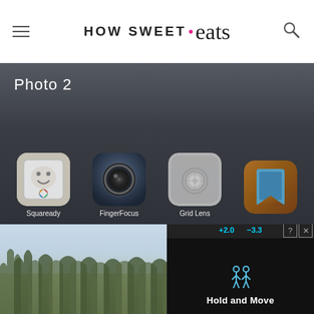HOW SWEET • eats
[Figure (screenshot): Screenshot of iPhone app folder labeled 'Photo 2' showing four app icons: Squaready, FingerFocus, Grid Lens, and a fourth partially visible app]
[Figure (photo): Partial view of a winter landscape with trees, overlaid with an advertisement showing 'Hold and Move' text in dark UI]